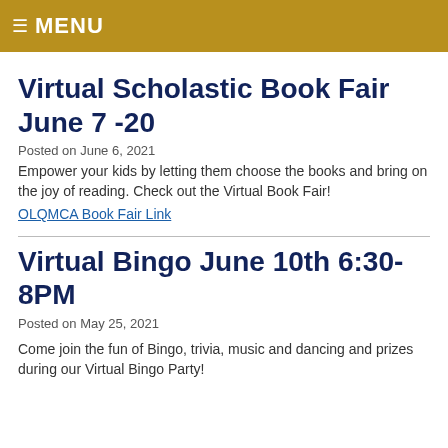≡ MENU
Virtual Scholastic Book Fair June 7 -20
Posted on June 6, 2021
Empower your kids by letting them choose the books and bring on the joy of reading. Check out the Virtual Book Fair!
OLQMCA Book Fair Link
Virtual Bingo June 10th 6:30-8PM
Posted on May 25, 2021
Come join the fun of Bingo, trivia, music and dancing and prizes during our Virtual Bingo Party!